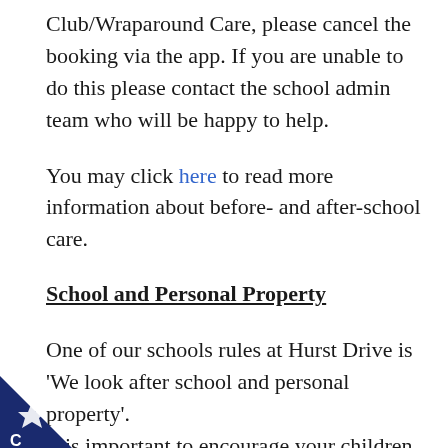Club/Wraparound Care, please cancel the booking via the app. If you are unable to do this please contact the school admin team who will be happy to help.
You may click here to read more information about before- and after-school care.
School and Personal Property
One of our schools rules at Hurst Drive is ‘We look after school and personal property’. It is important to encourage your children to take responsibility for their personal property and therefore please ensure your child arrives at school each day with all the items they will